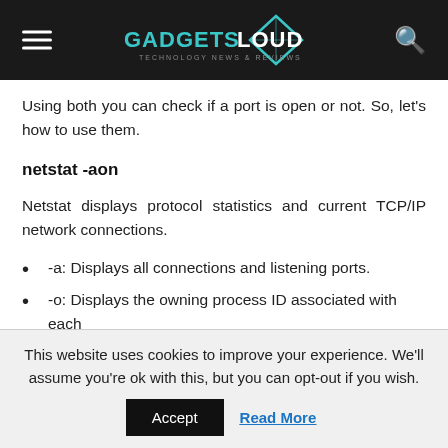GADGETSLOUD
Using both you can check if a port is open or not. So, let's how to use them.
netstat -aon
Netstat displays protocol statistics and current TCP/IP network connections.
-a: Displays all connections and listening ports.
-o: Displays the owning process ID associated with each
This website uses cookies to improve your experience. We'll assume you're ok with this, but you can opt-out if you wish.